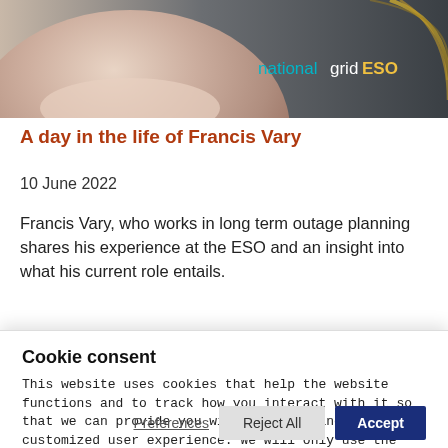[Figure (photo): Header image showing a person in a light pink polo shirt against a dark/gradient background, with the National Grid ESO logo in the top right corner]
A day in the life of Francis Vary
10 June 2022
Francis Vary, who works in long term outage planning shares his experience at the ESO and an insight into what his current role entails.
Cookie consent
This website uses cookies that help the website functions and to track how you interact with it so that we can provide you with improved and customized user experience. We will only use the cookies if you consent to it by clicking on Accept.